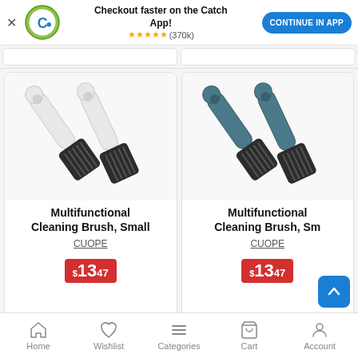[Figure (screenshot): App download banner for Catch app with logo, star rating, and continue button]
[Figure (photo): Two white-handled multifunctional cleaning brushes with dark bristle heads]
Multifunctional Cleaning Brush, Small
CUOPE
$13.47
[Figure (photo): Two dark blue/teal-handled multifunctional cleaning brushes with dark bristle heads]
Multifunctional Cleaning Brush, Small
CUOPE
$13.47
Home  Wishlist  Categories  Cart  Account